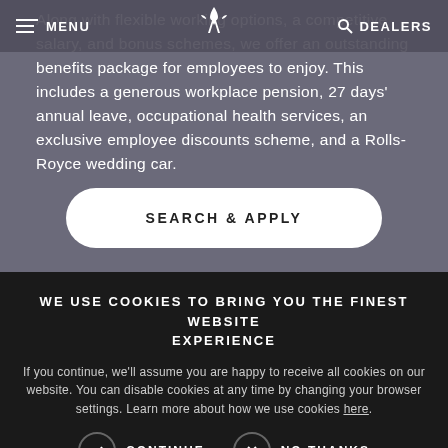MENU | [Rolls-Royce logo] | DEALERS
Along with flexible working options, a competitive salary, and bonus schemes, we offer an outstanding benefits package for employees to enjoy. This includes a generous workplace pension, 27 days' annual leave, occupational health services, an exclusive employee discounts scheme, and a Rolls-Royce wedding car.
SEARCH & APPLY
WE USE COOKIES TO BRING YOU THE FINEST WEBSITE EXPERIENCE
If you continue, we'll assume you are happy to receive all cookies on our website. You can disable cookies at any time by changing your browser settings. Learn more about how we use cookies here.
CONTINUE   NO THANKS